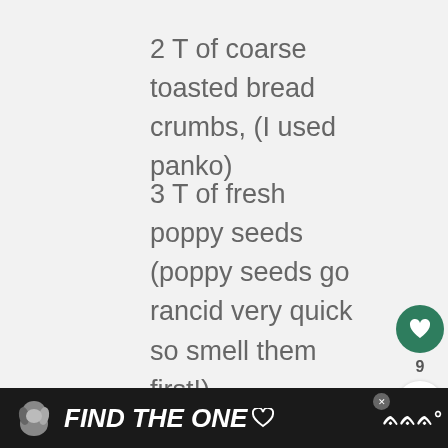2 T of coarse toasted bread crumbs, (I used panko)
3 T of fresh poppy seeds (poppy seeds go rancid very quick so smell them first!)
[Figure (photo): Advertisement banner with dark green background showing hearts, a beagle dog cutout, text 'FOSTER' and 'ADOPT' in large white italic bold letters]
[Figure (infographic): WHAT'S NEXT arrow label with thumbnail image and text 'Savory Bialy Hamentasch...' on right sidebar]
[Figure (photo): Bottom advertisement banner with dark background, dog icon, bold white italic text 'FIND THE ONE' with heart icon, close X button, and logo on right]